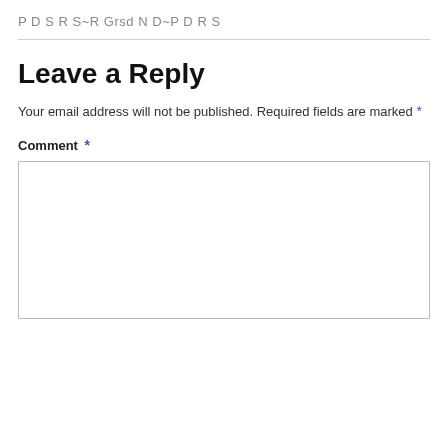P D S R S~R Grsd N D~P D R S
Leave a Reply
Your email address will not be published. Required fields are marked *
Comment *